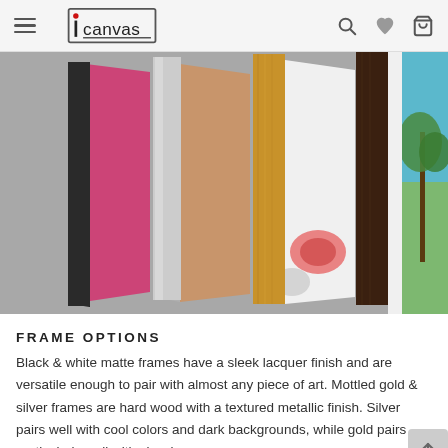icanvas
[Figure (photo): Multiple canvas frames standing upright side by side showing different frame styles: black, silver, gold/natural wood, dark walnut, and white frames with various artworks visible inside them against a gray background.]
FRAME OPTIONS
Black & white matte frames have a sleek lacquer finish and are versatile enough to pair with almost any piece of art. Mottled gold & silver frames are hard wood with a textured metallic finish. Silver pairs well with cool colors and dark backgrounds, while gold pairs particularly well with classic